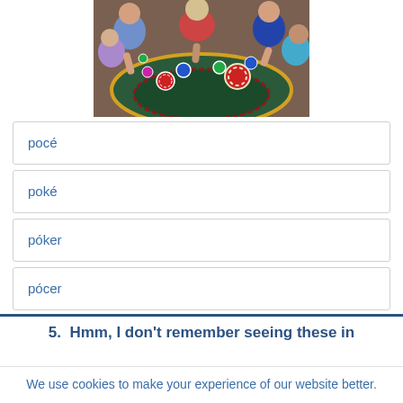[Figure (photo): Group of people at a casino table with poker chips, viewed from above, smiling and celebrating]
pocé
poké
póker
pócer
5.  Hmm, I don't remember seeing these in
We use cookies to make your experience of our website better.